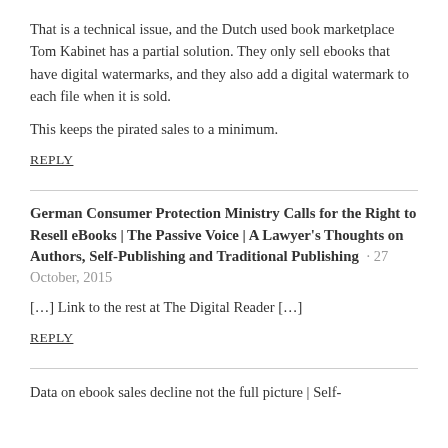That is a technical issue, and the Dutch used book marketplace Tom Kabinet has a partial solution. They only sell ebooks that have digital watermarks, and they also add a digital watermark to each file when it is sold.
This keeps the pirated sales to a minimum.
REPLY
German Consumer Protection Ministry Calls for the Right to Resell eBooks | The Passive Voice | A Lawyer's Thoughts on Authors, Self-Publishing and Traditional Publishing · 27 October, 2015
[…] Link to the rest at The Digital Reader […]
REPLY
Data on ebook sales decline not the full picture | Self-